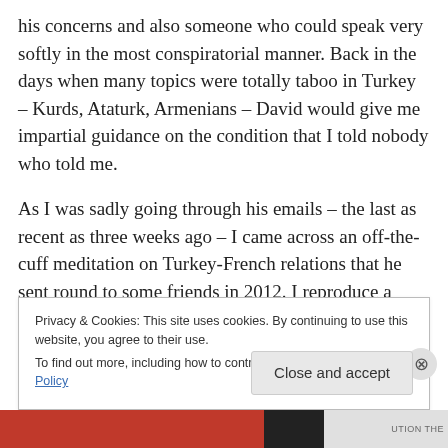his concerns and also someone who could speak very softly in the most conspiratorial manner. Back in the days when many topics were totally taboo in Turkey – Kurds, Ataturk, Armenians – David would give me impartial guidance on the condition that I told nobody who told me.
As I was sadly going through his emails – the last as recent as three weeks ago – I came across an off-the-cuff meditation on Turkey-French relations that he sent round to some friends in 2012. I reproduce a lightly edited version of it below, since it shows how all that learning and
Privacy & Cookies: This site uses cookies. By continuing to use this website, you agree to their use.
To find out more, including how to control cookies, see here: Cookie Policy